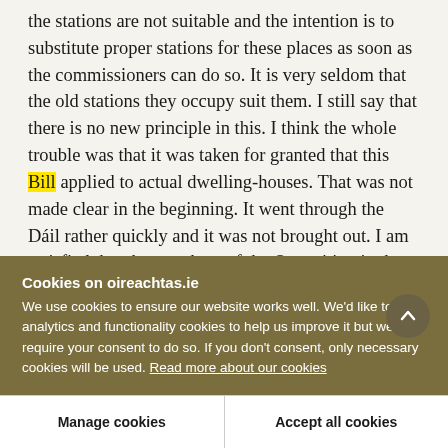the stations are not suitable and the intention is to substitute proper stations for these places as soon as the commissioners can do so. It is very seldom that the old stations they occupy suit them. I still say that there is no new principle in this. I think the whole trouble was that it was taken for granted that this Bill applied to actual dwelling-houses. That was not made clear in the beginning. It went through the Dáil rather quickly and it was not brought out. I am satisfied that the members of the Opposition in the Dáil looked through the measure to make sure that
Cookies on oireachtas.ie
We use cookies to ensure our website works well. We'd like to use analytics and functionality cookies to help us improve it but we require your consent to do so. If you don't consent, only necessary cookies will be used. Read more about our cookies
Manage cookies
Accept all cookies